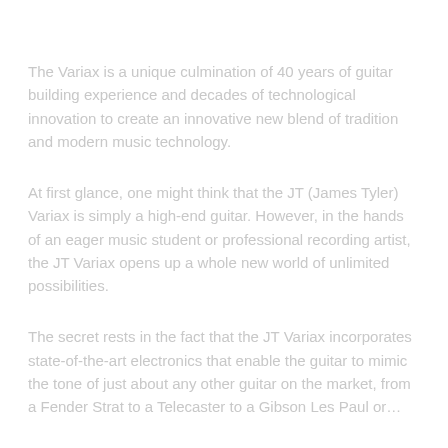The Variax is a unique culmination of 40 years of guitar building experience and decades of technological innovation to create an innovative new blend of tradition and modern music technology.
At first glance, one might think that the JT (James Tyler) Variax is simply a high-end guitar. However, in the hands of an eager music student or professional recording artist, the JT Variax opens up a whole new world of unlimited possibilities.
The secret rests in the fact that the JT Variax incorporates state-of-the-art electronics that enable the guitar to mimic the tone of just about any other guitar on the market, from a Fender Strat to a Telecaster to a Gibson Les Paul or…